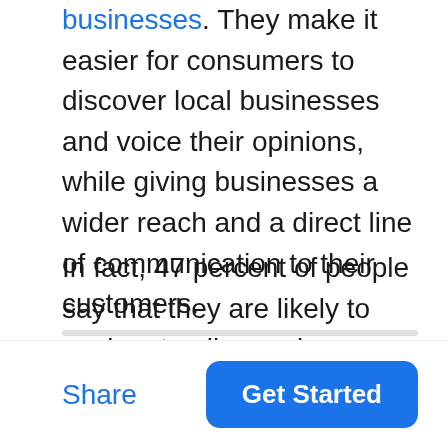businesses. They make it easier for consumers to discover local businesses and voice their opinions, while giving businesses a wider reach and a direct line of communication to their customers.
In fact, 47 percent of people say that they are likely to seek out online reviews when looking to try a new retail store, according to our recent survey of 1,800 consumers.
Share
Get Started